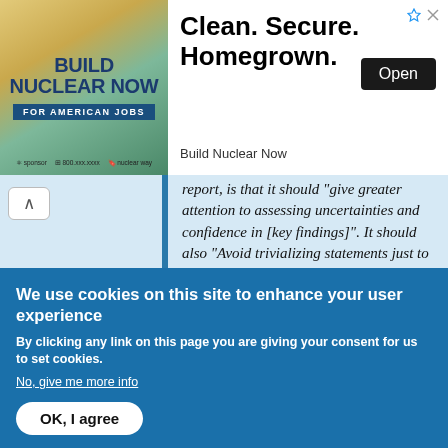[Figure (other): Advertisement banner: 'Build Nuclear Now - For American Jobs. Clean. Secure. Homegrown. Open. Build Nuclear Now.']
report, is that it should "give greater attention to assessing uncertainties and confidence in [key findings]". It should also "Avoid trivializing statements just to increase their confidence. [and] Determine the areas in your [the IPCC's] chapter where a range of views may need to be described... to form a collective view on uncertainty or confidence."
What this means is that a true
We use cookies on this site to enhance your user experience
By clicking any link on this page you are giving your consent for us to set cookies.
No, give me more info
OK, I agree